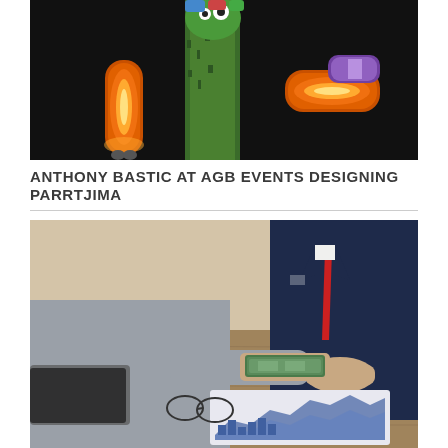[Figure (photo): A dark artistic display showing colorful glowing skateboards or sculptural objects with orange illumination and a green furry/mossy element, against a black background]
ANTHONY BASTIC AT AGB EVENTS DESIGNING PARRTJIMA
[Figure (photo): A business scene showing two people exchanging money (US dollar bills) across a wooden table, with one person in a dark suit with red tie and the other in a grey coat. Financial documents with charts are visible on the table.]